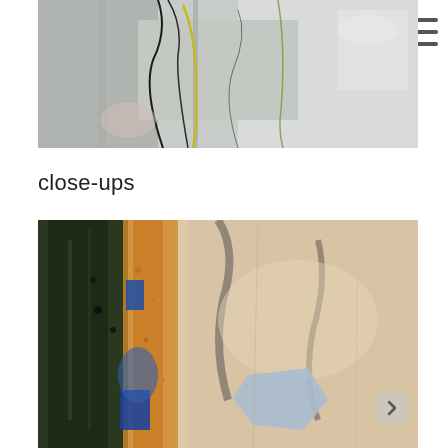[Figure (photo): Close-up abstract painting with grey, white, yellow and black cracked textures on canvas]
close-ups
[Figure (photo): Close-up abstract painting detail with dark green, gold/orange, blue, and light beige/cream textured areas with a light blue angular shape in the lower center]